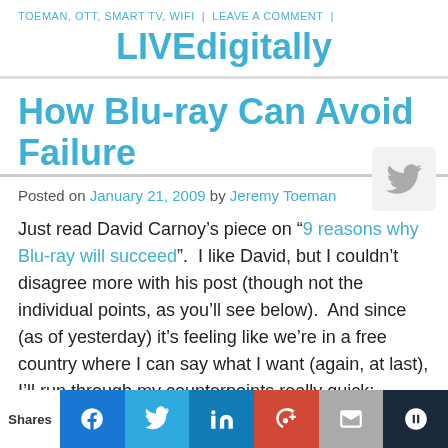TOEMAN, OTT, SMART TV, WIFI | LEAVE A COMMENT |
LIVEdigitally
How Blu-ray Can Avoid Failure
Posted on January 21, 2009 by Jeremy Toeman
Just read David Carnoy’s piece on “9 reasons why Blu-ray will succeed”.  I like David, but I couldn’t disagree more with his post (though not the individual points, as you’ll see below).  And since (as of yesterday) it’s feeling like we’re in a free country where I can say what I want (again, at last), I’ll run through my counterpoints really quick:
1. “Digital downloads will not eliminate the
Shares | Facebook | Twitter | LinkedIn | Google+ | Email | Other